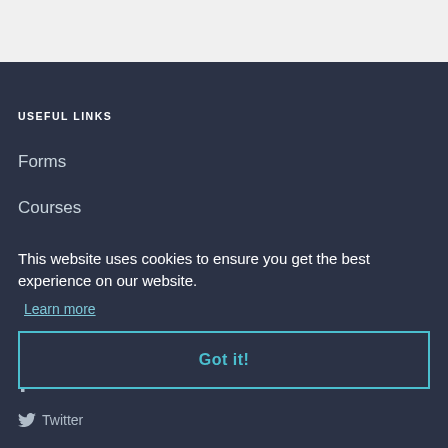USEFUL LINKS
Forms
Courses
Clubs
Di...
Ro...
CONNECT WITH US
This website uses cookies to ensure you get the best experience on our website.
Learn more
Got it!
Facebook
Twitter